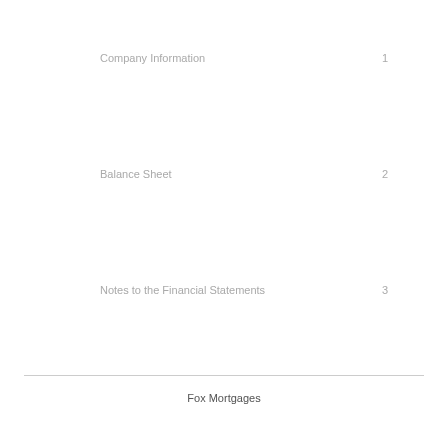Company Information    1
Balance Sheet    2
Notes to the Financial Statements    3
Fox Mortgages